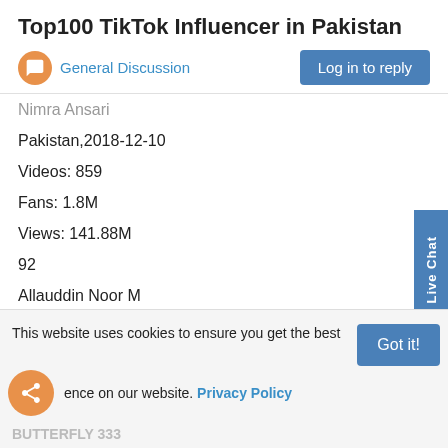Top100 TikTok Influencer in Pakistan
General Discussion
Nimra Ansari
Pakistan,2018-12-10
Videos: 859
Fans: 1.8M
Views: 141.88M
92
Allauddin Noor M
Pakistan,2018-10-03
Videos: 1,258
Fans: 1.8M
Views: 95x.xx M (partial)
BUTTERFLY 333 (partial)
This website uses cookies to ensure you get the best experience on our website. Privacy Policy